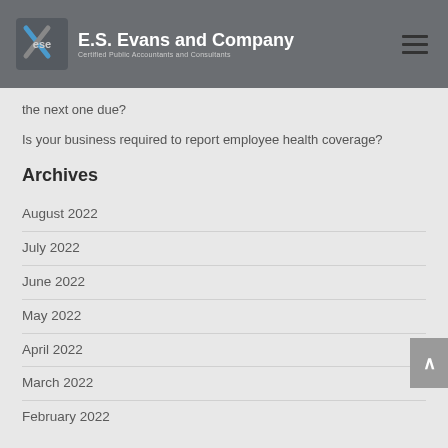E.S. Evans and Company — Certified Public Accountants and Consultants
the next one due?
Is your business required to report employee health coverage?
Archives
August 2022
July 2022
June 2022
May 2022
April 2022
March 2022
February 2022